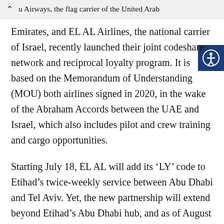u Airways, the flag carrier of the United Arab
Emirates, and EL AL Airlines, the national carrier of Israel, recently launched their joint codeshare network and reciprocal loyalty program. It is based on the Memorandum of Understanding (MOU) both airlines signed in 2020, in the wake of the Abraham Accords between the UAE and Israel, which also includes pilot and crew training and cargo opportunities.
Starting July 18, EL AL will add its ‘LY’ code to Etihad’s twice-weekly service between Abu Dhabi and Tel Aviv. Yet, the new partnership will extend beyond Etihad’s Abu Dhabi hub, and as of August 1, it is set to include destinations in Australia, Bahrain, India, Korea, the Philippines, and